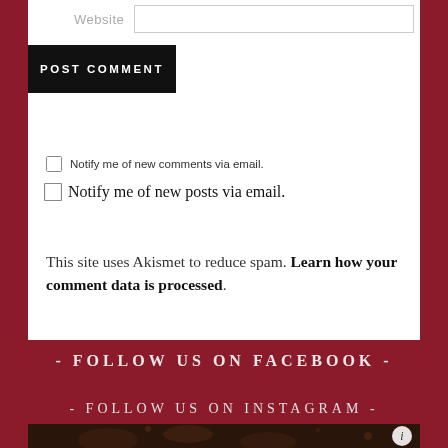[Figure (screenshot): Website input field (partially visible at top)]
POST COMMENT
Notify me of new comments via email.
Notify me of new posts via email.
This site uses Akismet to reduce spam. Learn how your comment data is processed.
- FOLLOW US ON FACEBOOK -
- FOLLOW US ON INSTAGRAM -
[Figure (photo): Instagram photo showing decorative dark floral/chocolate themed image with info button overlay]